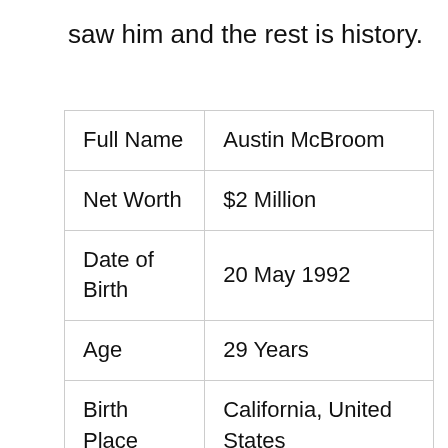saw him and the rest is history.
| Full Name | Austin McBroom |
| Net Worth | $2 Million |
| Date of Birth | 20 May 1992 |
| Age | 29 Years |
| Birth Place | California, United States |
| Profession | Basketball Player, YouTube Star, Sports |